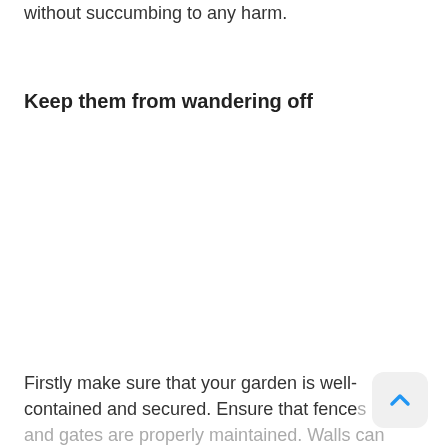without succumbing to any harm.
Keep them from wandering off
Firstly make sure that your garden is well-contained and secured. Ensure that fences and gates are properly maintained. Walls can